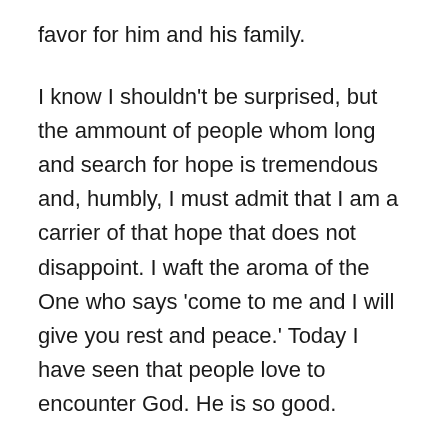favor for him and his family.
I know I shouldn't be surprised, but the ammount of people whom long and search for hope is tremendous and, humbly, I must admit that I am a carrier of that hope that does not disappoint. I waft the aroma of the One who says 'come to me and I will give you rest and peace.' Today I have seen that people love to encounter God. He is so good.
My dream is that church up and down the UK will literally take this most treasure like message of